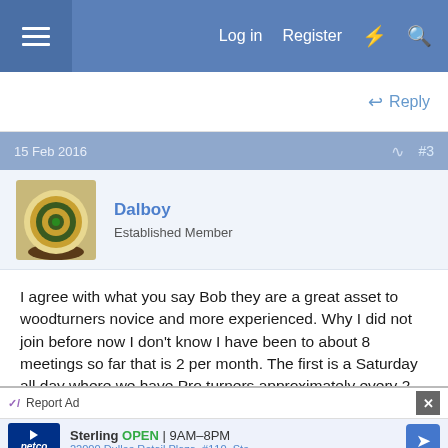Log in  Register
Reply
15 Feb 2016  #3
Dalboy
Established Member
I agree with what you say Bob they are a great asset to woodturners novice and more experienced. Why I did not join before now I don't know I have been to about 8 meetings so far that is 2 per month. The first is a Saturday all day where we have Pro turners approximately every 2 months and the other we have a member giving an in depth demo, then we meet on a
Report Ad
Sterling  OPEN | 9AM–8PM
22000 Dulles Retail Plaza, #110, Ste